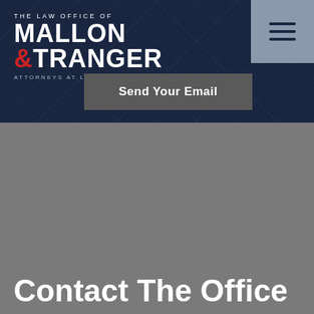[Figure (logo): The Law Office of Mallon & Tranger logo — white bold text with red ampersand, 'ATTORNEYS AT LAW | FREEHOLD, NEW JERSEY' subtitle]
Send Your Email
Contact The Office
[Figure (map): Google Maps screenshot showing Monmouth Vicinage area with pin labeled 'The Law Office of Mallon & Tranger', showing streets including Monument St, Edgewood Dr, Morris St, and Schanck St]